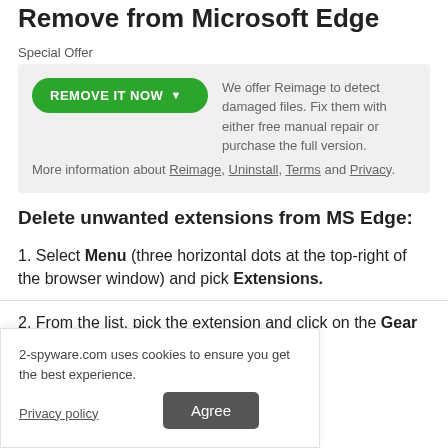Remove from Microsoft Edge
Special Offer
We offer Reimage to detect damaged files. Fix them with either free manual repair or purchase the full version.More information about Reimage, Uninstall, Terms and Privacy.
Delete unwanted extensions from MS Edge:
1. Select Menu (three horizontal dots at the top-right of the browser window) and pick Extensions.
2. From the list, pick the extension and click on the Gear icon.
2-spyware.com uses cookies to ensure you get the best experience.
Privacy policy
Agree